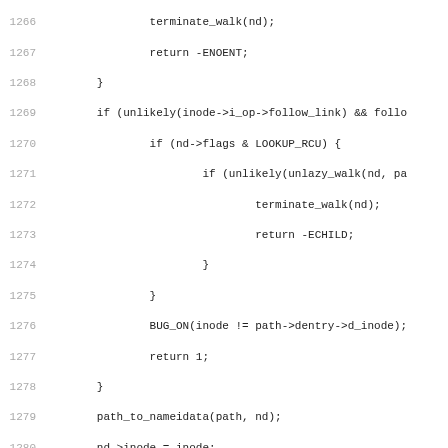[Figure (screenshot): Source code listing in monospace font showing C code for Linux kernel namei.c, lines 1266-1298. Lines are numbered on the left in gray. Code includes return statements, conditional checks, BUG_ON macro, path_to_nameidata call, and the beginning of nested_symlink function with a comment block explaining symlink follow limits.]